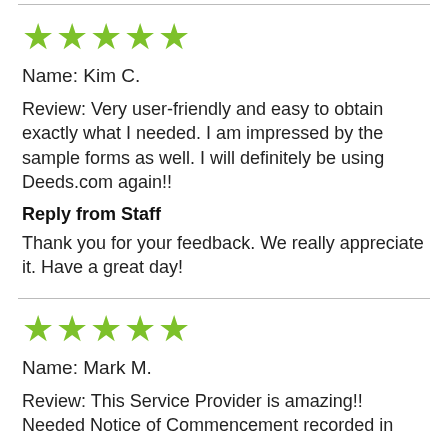[Figure (other): Five green star rating icons]
Name: Kim C.
Review: Very user-friendly and easy to obtain exactly what I needed. I am impressed by the sample forms as well. I will definitely be using Deeds.com again!!
Reply from Staff
Thank you for your feedback. We really appreciate it. Have a great day!
[Figure (other): Five green star rating icons]
Name: Mark M.
Review: This Service Provider is amazing!! Needed Notice of Commencement recorded in